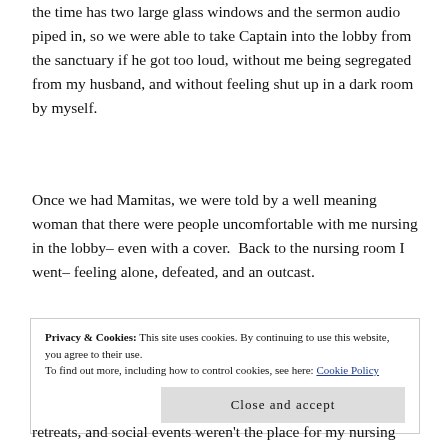the time has two large glass windows and the sermon audio piped in, so we were able to take Captain into the lobby from the sanctuary if he got too loud, without me being segregated from my husband, and without feeling shut up in a dark room by myself.
Once we had Mamitas, we were told by a well meaning woman that there were people uncomfortable with me nursing in the lobby– even with a cover.  Back to the nursing room I went– feeling alone, defeated, and an outcast.
Privacy & Cookies: This site uses cookies. By continuing to use this website, you agree to their use.
To find out more, including how to control cookies, see here: Cookie Policy
[Close and accept]
retreats, and social events weren't the place for my nursing baby